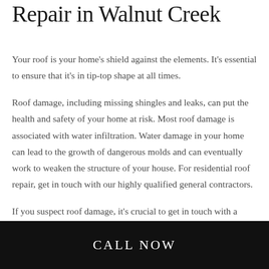Repair in Walnut Creek
Your roof is your home's shield against the elements. It's essential to ensure that it's in tip-top shape at all times.
Roof damage, including missing shingles and leaks, can put the health and safety of your home at risk. Most roof damage is associated with water infiltration. Water damage in your home can lead to the growth of dangerous molds and can eventually work to weaken the structure of your house. For residential roof repair, get in touch with our highly qualified general contractors.
If you suspect roof damage, it's crucial to get in touch with a trusted team of roof repair experts as soon as possible.
CALL NOW